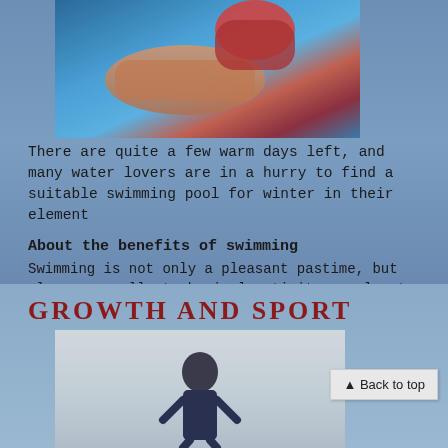[Figure (photo): Swimmer in a pool, overhead view showing red swimcap and water]
There are quite a few warm days left, and many water lovers are in a hurry to find a suitable swimming pool for winter in their element
About the benefits of swimming
Swimming is not only a pleasant pastime, but also an excellent physical activity on almost all muscles of the body. The benefits of swimming are obvious. This is a complex aerobic exercise in which the muscles of the upper and lower body work. Therefore, depending on the combination of technology, speed and frequency of training, swimming can help both with weight loss, and with strengthening muscles and general body health.
(more…)
GROWTH AND SPORT
[Figure (photo): Person standing, photo partially visible at bottom of page]
▲ Back to top